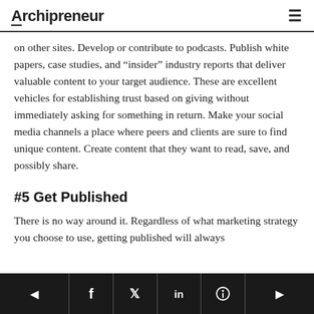Archipreneur
on other sites. Develop or contribute to podcasts. Publish white papers, case studies, and “insider” industry reports that deliver valuable content to your target audience. These are excellent vehicles for establishing trust based on giving without immediately asking for something in return. Make your social media channels a place where peers and clients are sure to find unique content. Create content that they want to read, save, and possibly share.
#5 Get Published
There is no way around it. Regardless of what marketing strategy you choose to use, getting published will always
◀  f  𝕏  in  ⊕  ▶